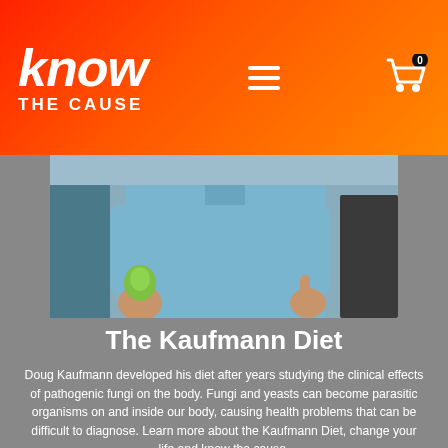know THE CAUSE
[Figure (photo): A person in a light blue shirt holding a green apple in one hand and pointing with the other hand, photographed from the torso down against an indoor background.]
The Kaufmann Diet
Doug Kaufmann developed his diet after years studying the clinical effects of pathogenic fungi on the body. Fungi and yeasts can become parasitic organisms on and inside our body, causing health problems that can be difficult to diagnose. Learn more about the Kaufmann Diet, change your life and know the cause.